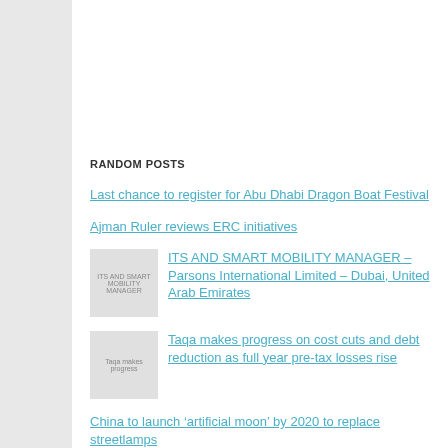RANDOM POSTS
Last chance to register for Abu Dhabi Dragon Boat Festival
Ajman Ruler reviews ERC initiatives
ITS AND SMART MOBILITY MANAGER – Parsons International Limited – Dubai, United Arab Emirates
Taqa makes progress on cost cuts and debt reduction as full year pre-tax losses rise
China to launch ‘artificial moon’ by 2020 to replace streetlamps